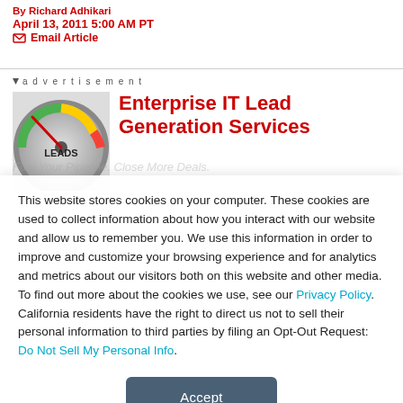By Richard Adhikari
April 13, 2011 5:00 AM PT
Email Article
advertisement
[Figure (photo): Speedometer gauge with LEADS label]
Enterprise IT Lead Generation Services
This website stores cookies on your computer. These cookies are used to collect information about how you interact with our website and allow us to remember you. We use this information in order to improve and customize your browsing experience and for analytics and metrics about our visitors both on this website and other media. To find out more about the cookies we use, see our Privacy Policy. California residents have the right to direct us not to sell their personal information to third parties by filing an Opt-Out Request: Do Not Sell My Personal Info.
Accept